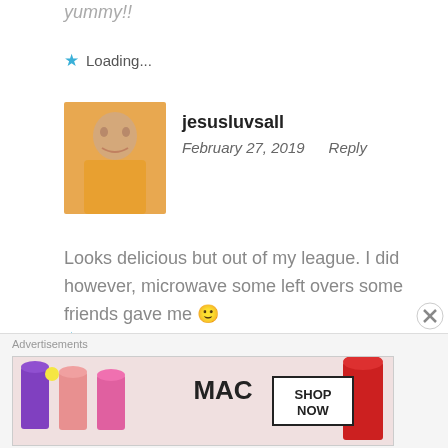yummy!!
Loading...
jesusluvsall
February 27, 2019   Reply
Looks delicious but out of my league. I did however, microwave some left overs some friends gave me 🙂
Loading...
beautybeyondbones
February 28, 2019   Reply
[Figure (photo): Advertisement banner for MAC cosmetics showing lipsticks and SHOP NOW text]
Advertisements